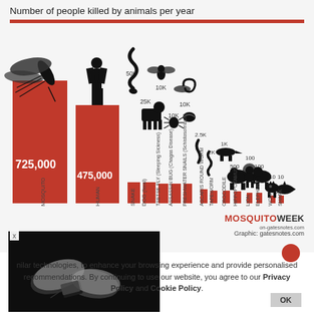Number of people killed by animals per year
[Figure (infographic): Bar chart infographic showing number of people killed by animals per year. Animals listed from left to right with decreasing death counts: Mosquito 725,000, Human 475,000, Snake 50K, Dog 25K, Tsetse Fly 10K, Assassin Bug 10K, Freshwater Snails 10K, Ascaris Round Worm 2.5K, Tapeworm 2K, Crocodile 1K, Hippopotamus 500, Lion 100, Elephant 100, Wolf 10, Shark 10. Red vertical bars represent death counts. Silhouette icons of each animal above bars.]
[Figure (photo): Black and white photograph of a person's feet with a toe tag, suggesting a morgue/death scene]
MOSQUITO WEEK on-gatesnotes.com
Graphic: gatesnotes.com
nilar technologies, to enhance your browsing experience and provide personalised recommendations. By continuing to use our website, you agree to our Privacy Policy and Cookie Policy.